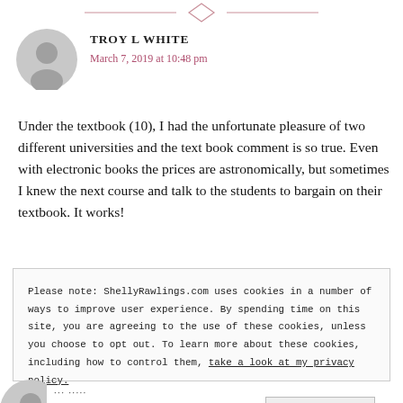[Figure (other): Decorative diamond and horizontal line divider in pink/rose color]
[Figure (photo): Gray circular avatar placeholder for user Troy L White]
TROY L WHITE
March 7, 2019 at 10:48 pm
Under the textbook (10), I had the unfortunate pleasure of two different universities and the text book comment is so true. Even with electronic books the prices are astronomically, but sometimes I knew the next course and talk to the students to bargain on their textbook. It works!
Please note: ShellyRawlings.com uses cookies in a number of ways to improve user experience. By spending time on this site, you are agreeing to the use of these cookies, unless you choose to opt out. To learn more about these cookies, including how to control them, take a look at my privacy policy.
Sounds good!
[Figure (photo): Partial gray circular avatar at bottom of page]
···